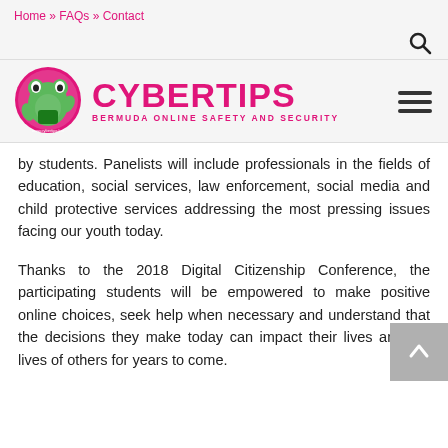Home » FAQs » Contact
[Figure (logo): CyberTips Bermuda Online Safety and Security logo with frog mascot]
by students. Panelists will include professionals in the fields of education, social services, law enforcement, social media and child protective services addressing the most pressing issues facing our youth today.
Thanks to the 2018 Digital Citizenship Conference, the participating students will be empowered to make positive online choices, seek help when necessary and understand that the decisions they make today can impact their lives and the lives of others for years to come.